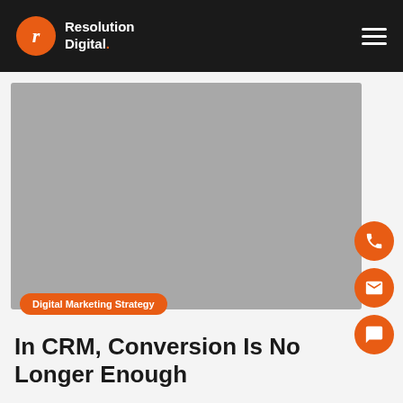Resolution Digital.
[Figure (photo): Gray placeholder image for article hero]
Digital Marketing Strategy
In CRM, Conversion Is No Longer Enough